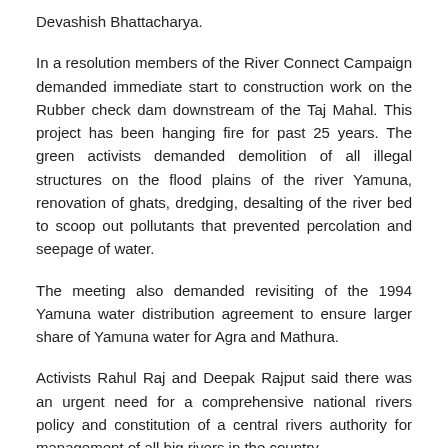Devashish Bhattacharya.
In a resolution members of the River Connect Campaign demanded immediate start to construction work on the Rubber check dam downstream of the Taj Mahal. This project has been hanging fire for past 25 years. The green activists demanded demolition of all illegal structures on the flood plains of the river Yamuna, renovation of ghats, dredging, desalting of the river bed to scoop out pollutants that prevented percolation and seepage of water.
The meeting also demanded revisiting of the 1994 Yamuna water distribution agreement to ensure larger share of Yamuna water for Agra and Mathura.
Activists Rahul Raj and Deepak Rajput said there was an urgent need for a comprehensive national rivers policy and constitution of a central rivers authority for management of all big rivers in the country.
Friends of Vrindavan convener Jagan Nath Poddar said "millions of Sri Krishna Bhakts visit Braj mandal every year. The pilgrims feel saddened by the dismal plight of river Yamuna whose water was